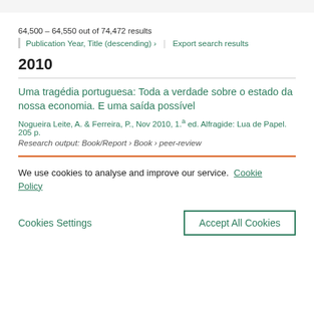64,500 – 64,550 out of 74,472 results
Publication Year, Title (descending) ›   Export search results
2010
Uma tragédia portuguesa: Toda a verdade sobre o estado da nossa economia. E uma saída possível
Nogueira Leite, A. & Ferreira, P., Nov 2010, 1.ª ed. Alfragide: Lua de Papel. 205 p.
Research output: Book/Report › Book › peer-review
We use cookies to analyse and improve our service. Cookie Policy
Cookies Settings   Accept All Cookies